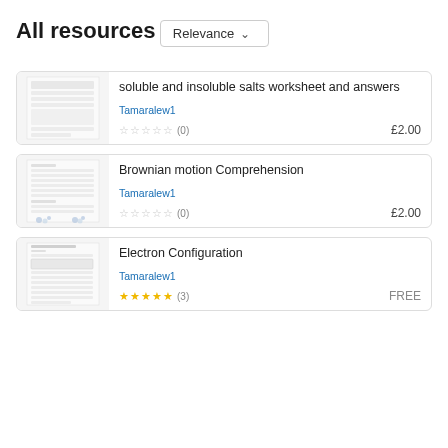All resources
Relevance ˅
soluble and insoluble salts worksheet and answers
Tamaralew1
★★★★★ (0)
£2.00
Brownian motion Comprehension
Tamaralew1
★★★★★ (0)
£2.00
Electron Configuration
Tamaralew1
★★★★½ (3)
FREE